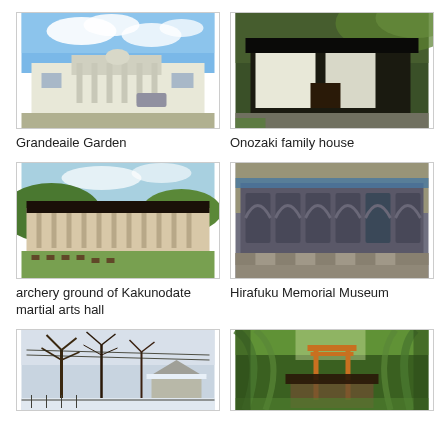[Figure (photo): Exterior of Grandeaile Garden building with white columns and blue sky with clouds]
Grandeaile Garden
[Figure (photo): Traditional Japanese Onozaki family house with dark wooden architecture and green trees]
Onozaki family house
[Figure (photo): Wide view of archery ground at Kakunodate martial arts hall with long low building and green lawn]
archery ground of Kakunodate martial arts hall
[Figure (photo): Interior courtyard of Hirafuku Memorial Museum with arched doorways and patterned stone floor]
Hirafuku Memorial Museum
[Figure (photo): Winter scene with snow-covered trees and a small house]
[Figure (photo): Shrine area with a torii gate surrounded by green weeping trees]